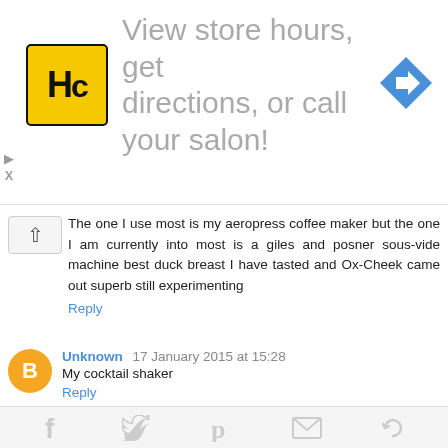[Figure (infographic): Advertisement banner with HC logo (yellow square with black HC letters), text 'View store hours, get directions, or call your salon!', and a blue diamond direction arrow icon on the right.]
The one I use most is my aeropress coffee maker but the one I am currently into most is a giles and posner sous-vide machine best duck breast I have tasted and Ox-Cheek came out superb still experimenting
Reply
Unknown 17 January 2015 at 15:28
My cocktail shaker
Reply
kellyroxanne 17 January 2015 at 15:33
[Figure (infographic): Social share bar with icons for Facebook, Twitter, Pinterest, Email, and another share option]